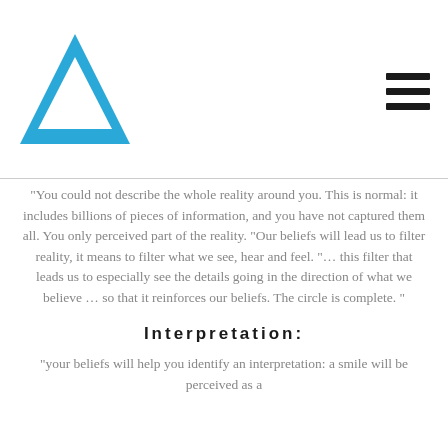[Figure (logo): Blue triangle logo with a smaller inner triangle cutout, pointing upward]
“You could not describe the whole reality around you. This is normal: it includes billions of pieces of information, and you have not captured them all. You only perceived part of the reality. “Our beliefs will lead us to filter reality, it means to filter what we see, hear and feel. “… this filter that leads us to especially see the details going in the direction of what we believe … so that it reinforces our beliefs. The circle is complete. ”
Interpretation:
“your beliefs will help you identify an interpretation: a smile will be perceived as a